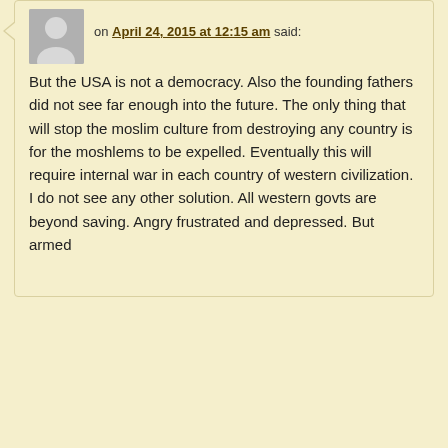on April 24, 2015 at 12:15 am said:
But the USA is not a democracy. Also the founding fathers did not see far enough into the future. The only thing that will stop the moslim culture from destroying any country is for the moshlems to be expelled. Eventually this will require internal war in each country of western civilization. I do not see any other solution. All western govts are beyond saving. Angry frustrated and depressed. But armed
Michael Copeland on April 22, 2015 at 4:00 am said:
The predatory wasp of Islam disables its victim with a sting of colonial guilt. The victim's immune system is compromised by chemicals of political…